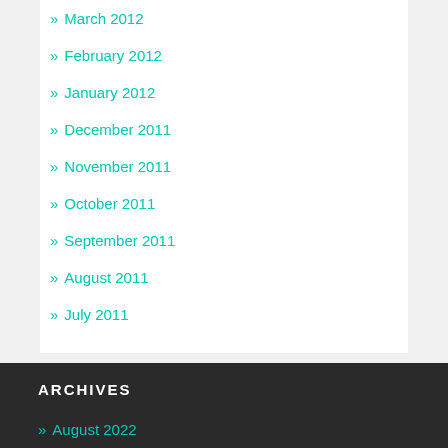» March 2012
» February 2012
» January 2012
» December 2011
» November 2011
» October 2011
» September 2011
» August 2011
» July 2011
ARCHIVES
» August 2022
» July 2022
» June 2022